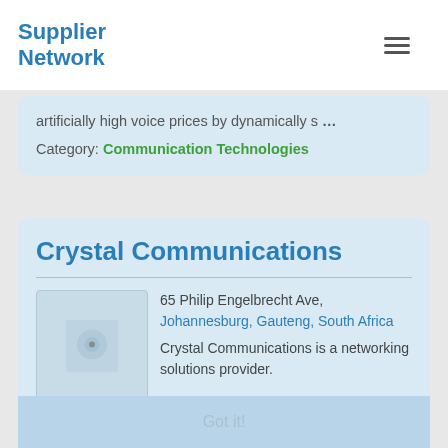Supplier Network
artificially high voice prices by dynamically s …
Category: Communication Technologies
Crystal Communications
65 Philip Engelbrecht Ave, Johannesburg, Gauteng, South Africa
Crystal Communications is a networking solutions provider.
This website uses cookies to ensure you get the best experience on our website Learn more
The mission of Crystal Communications is to design, supply, implement, maintain and support mission critical local and wide area networks to create a customised client solution in an ever